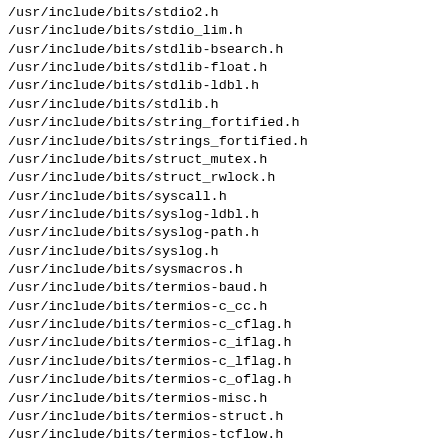/usr/include/bits/stdio2.h
/usr/include/bits/stdio_lim.h
/usr/include/bits/stdlib-bsearch.h
/usr/include/bits/stdlib-float.h
/usr/include/bits/stdlib-ldbl.h
/usr/include/bits/stdlib.h
/usr/include/bits/string_fortified.h
/usr/include/bits/strings_fortified.h
/usr/include/bits/struct_mutex.h
/usr/include/bits/struct_rwlock.h
/usr/include/bits/syscall.h
/usr/include/bits/syslog-ldbl.h
/usr/include/bits/syslog-path.h
/usr/include/bits/syslog.h
/usr/include/bits/sysmacros.h
/usr/include/bits/termios-baud.h
/usr/include/bits/termios-c_cc.h
/usr/include/bits/termios-c_cflag.h
/usr/include/bits/termios-c_iflag.h
/usr/include/bits/termios-c_lflag.h
/usr/include/bits/termios-c_oflag.h
/usr/include/bits/termios-misc.h
/usr/include/bits/termios-struct.h
/usr/include/bits/termios-tcflow.h
/usr/include/bits/termios.h
/usr/include/bits/thread-shared-types.h
/usr/include/bits/time.h
/usr/include/bits/time64.h
/usr/include/bits/timerfd.h
/usr/include/bits/timesize.h
/usr/include/bits/times.h